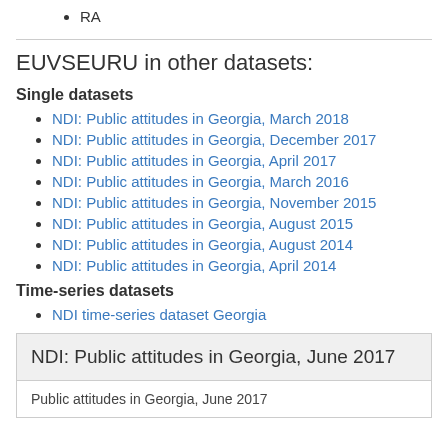RA
EUVSEURU in other datasets:
Single datasets
NDI: Public attitudes in Georgia, March 2018
NDI: Public attitudes in Georgia, December 2017
NDI: Public attitudes in Georgia, April 2017
NDI: Public attitudes in Georgia, March 2016
NDI: Public attitudes in Georgia, November 2015
NDI: Public attitudes in Georgia, August 2015
NDI: Public attitudes in Georgia, August 2014
NDI: Public attitudes in Georgia, April 2014
Time-series datasets
NDI time-series dataset Georgia
NDI: Public attitudes in Georgia, June 2017
Public attitudes in Georgia, June 2017